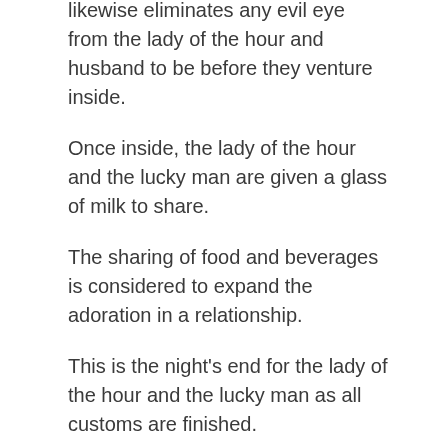with the appearance of this fire. Relative and it likewise eliminates any evil eye from the lady of the hour and husband to be before they venture inside.
Once inside, the lady of the hour and the lucky man are given a glass of milk to share.
The sharing of food and beverages is considered to expand the adoration in a relationship.
This is the night’s end for the lady of the hour and the lucky man as all customs are finished.
Different individuals from the loved ones would remain longer to party.
Reception